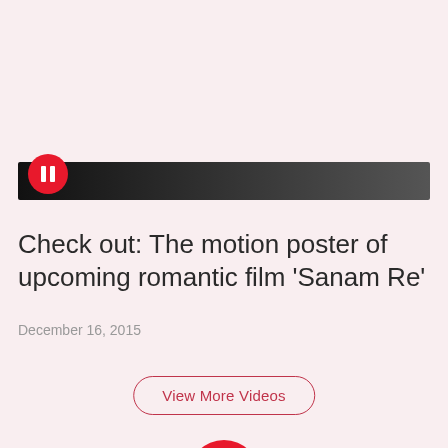[Figure (screenshot): Video thumbnail with a dark gradient background and a red circular pause/play button icon on the left side, resembling a video player scrubber bar.]
Check out: The motion poster of upcoming romantic film 'Sanam Re'
December 16, 2015
View More Videos